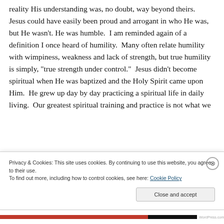reality His understanding was, no doubt, way beyond theirs.  Jesus could have easily been proud and arrogant in who He was, but He wasn't. He was humble.  I am reminded again of a definition I once heard of humility.  Many often relate humility with wimpiness, weakness and lack of strength, but true humility is simply, "true strength under control."  Jesus didn't become spiritual when He was baptized and the Holy Spirit came upon Him.  He grew up day by day practicing a spiritual life in daily living.  Our greatest spiritual training and practice is not what we
Privacy & Cookies: This site uses cookies. By continuing to use this website, you agree to their use.
To find out more, including how to control cookies, see here: Cookie Policy
Close and accept